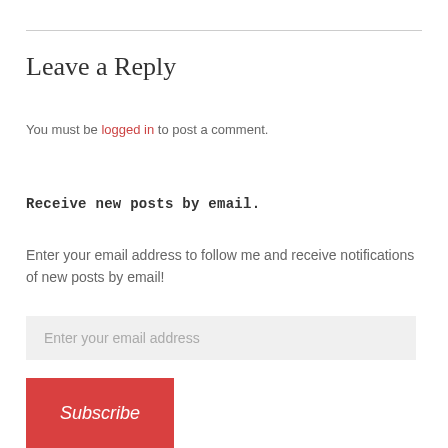Leave a Reply
You must be logged in to post a comment.
Receive new posts by email.
Enter your email address to follow me and receive notifications of new posts by email!
Enter your email address
Subscribe